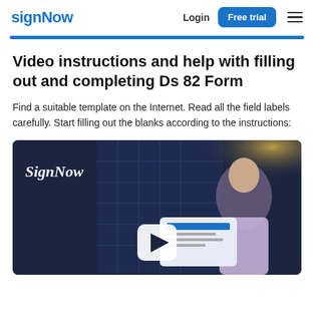signNow  Login  Free trial
Video instructions and help with filling out and completing Ds 82 Form
Find a suitable template on the Internet. Read all the field labels carefully. Start filling out the blanks according to the instructions:
[Figure (screenshot): SignNow promotional video thumbnail showing a man smiling at a laptop, with the SignNow logo in script font and a play button overlay on a dark background.]